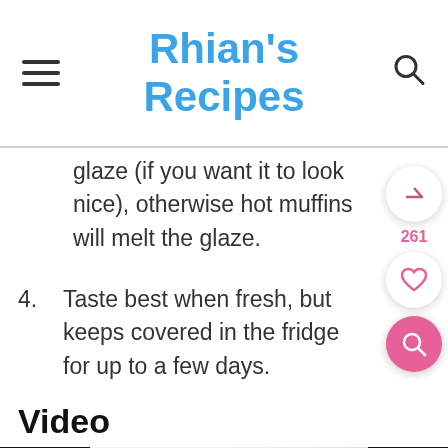Rhian's Recipes
glaze (if you want it to look nice), otherwise hot muffins will melt the glaze.
4. Taste best when fresh, but keeps covered in the fridge for up to a few days.
Video
[Figure (photo): Video thumbnail showing muffins with white glaze/cream, cherries on a light background, with black letterbox bars on the sides]